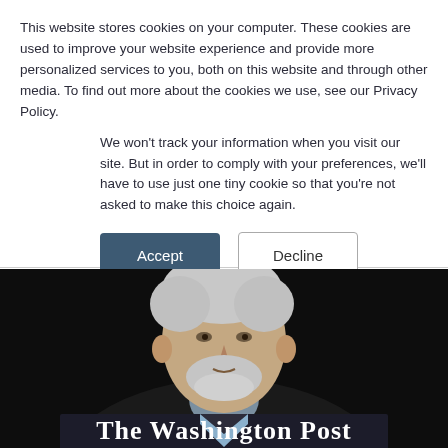This website stores cookies on your computer. These cookies are used to improve your website experience and provide more personalized services to you, both on this website and through other media. To find out more about the cookies we use, see our Privacy Policy.
We won't track your information when you visit our site. But in order to comply with your preferences, we'll have to use just one tiny cookie so that you're not asked to make this choice again.
[Figure (screenshot): Cookie consent dialog with Accept and Decline buttons above a Washington Post video thumbnail showing an older man with white hair and beard against a dark background, with 'The Washington Post' logo in white blackletter font overlaid.]